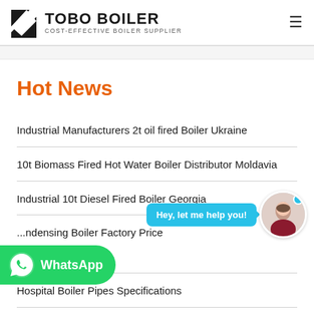[Figure (logo): Tobo Boiler logo with black geometric icon and text 'TOBO BOILER - COST-EFFECTIVE BOILER SUPPLIER']
Hot News
Industrial Manufacturers 2t oil fired Boiler Ukraine
10t Biomass Fired Hot Water Boiler Distributor Moldavia
Industrial 10t Diesel Fired Boiler Georgia
...ndensing Boiler Factory Price ...g
Hospital Boiler Pipes Specifications